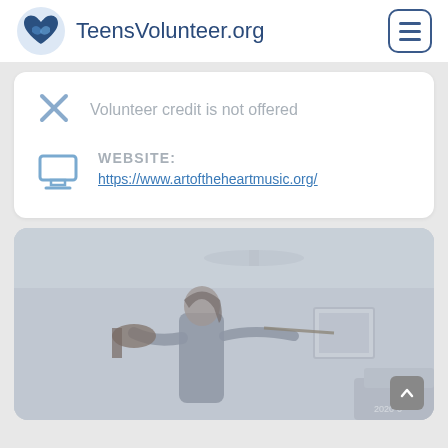TeensVolunteer.org
Volunteer credit is not offered
WEBSITE: https://www.artoftheheartmusic.org/
[Figure (photo): A teenager playing violin indoors in a living room setting, faded/muted color photo with a timestamp watermark in the bottom right corner.]